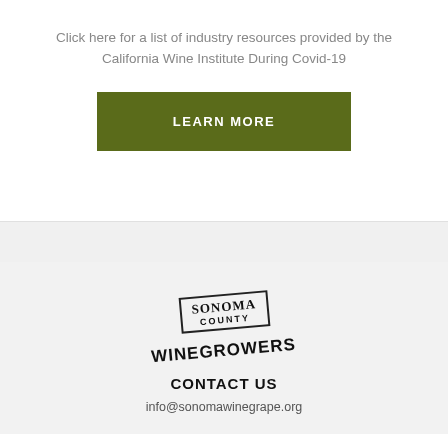Click here for a list of industry resources provided by the California Wine Institute During Covid-19
[Figure (other): Green 'LEARN MORE' button]
[Figure (logo): Sonoma County Winegrowers logo with stamp design]
CONTACT US
info@sonomawinegrape.org